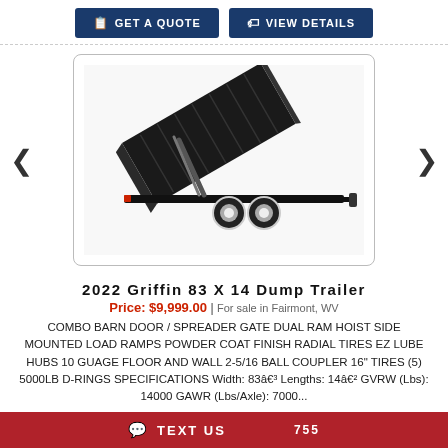[Figure (screenshot): Two dark navy buttons: 'GET A QUOTE' with document icon and 'VIEW DETAILS' with tag icon]
[Figure (photo): Photo of a 2022 Griffin 83 X 14 black dump trailer with raised bed, dual axles, and white wheels, shown in a rounded-corner white bordered box with carousel left/right arrows]
2022 Griffin 83 X 14 Dump Trailer
Price: $9,999.00 | For sale in Fairmont, WV
COMBO BARN DOOR / SPREADER GATE DUAL RAM HOIST SIDE MOUNTED LOAD RAMPS POWDER COAT FINISH RADIAL TIRES EZ LUBE HUBS 10 GUAGE FLOOR AND WALL 2-5/16 BALL COUPLER 16" TIRES (5) 5000LB D-RINGS SPECIFICATIONS Width: 83â€³ Lengths: 14â€² GVRW (Lbs): 14000 GAWR (Lbs/Axle): 7000...
TEXT US  755